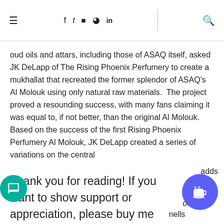≡  f  t  instagram  pinterest  in  |  search
oud oils and attars, including those of ASAQ itself, asked JK DeLapp of The Rising Phoenix Perfumery to create a mukhallat that recreated the former splendor of ASAQ's Al Molouk using only natural raw materials.  The project proved a resounding success, with many fans claiming it was equal to, if not better, than the original Al Molouk.  Based on the success of the first Rising Phoenix Perfumery Al Molouk, JK DeLapp created a series of variations on the central
adds
Thank you for reading! If you want to show support or appreciation, please buy me a coffee - I\\\\\\\'d be super grateful!
ing
of a
Cambodi-style oud oil, Al Molouk Cambodi smells